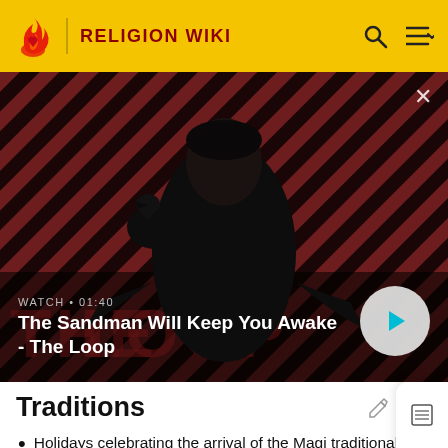RELIGION WIKI
[Figure (screenshot): Video thumbnail for 'The Sandman Will Keep You Awake - The Loop'. Shows a dark figure with a raven on their shoulder against a red and dark diagonal striped background. A white play button circle is visible on the right. Text reads: WATCH • 01:40 / The Sandman Will Keep You Awake - The Loop]
Traditions
Holidays celebrating the arrival of the Magi traditionally recognise a distinction between the date of their arrival and the date of Jesus' birth. The